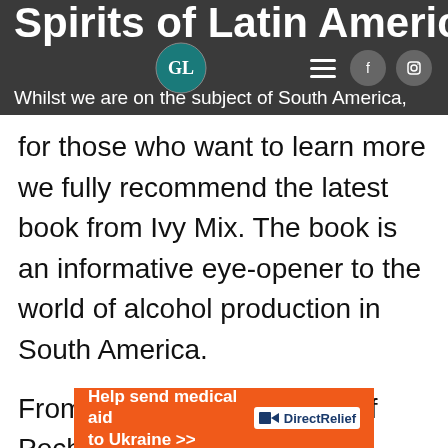Spirits of Latin America
Whilst we are on the subject of South America, for those who want to learn more we fully recommend the latest book from Ivy Mix. The book is an informative eye-opener to the world of alcohol production in South America.
From the strange methods of Pechuga to legal issues with Mezcal, there is an abundance of knowledge bombs with her own personal experiences littered within.
The stunning photography by Shannon Sturgis
[Figure (other): Advertisement banner: Help send medical aid to Ukraine >> with Direct Relief logo on orange background]